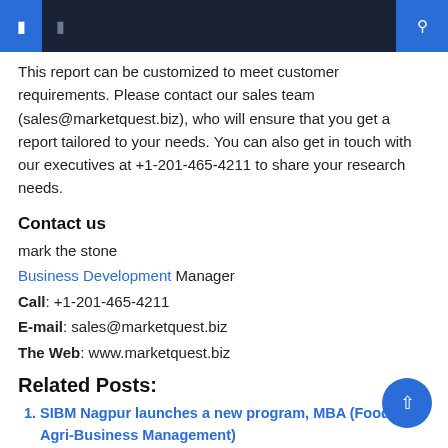navigation header with icons
This report can be customized to meet customer requirements. Please contact our sales team (sales@marketquest.biz), who will ensure that you get a report tailored to your needs. You can also get in touch with our executives at +1-201-465-4211 to share your research needs.
Contact us
mark the stone
Business Development Manager
Call: +1-201-465-4211
E-mail: sales@marketquest.biz
The Web: www.marketquest.biz
Related Posts:
SIBM Nagpur launches a new program, MBA (Food and Agri-Business Management)